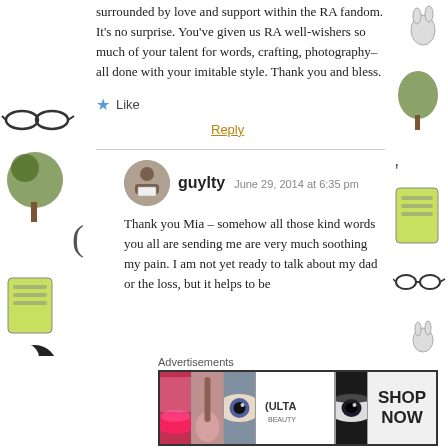surrounded by love and support within the RA fandom. It's no surprise. You've given us RA well-wishers so much of your talent for words, crafting, photography–all done with your imitable style. Thank you and bless.
★ Like
Reply
guylty  June 29, 2014 at 6:35 pm
Thank you Mia – somehow all those kind words you all are sending me are very much soothing my pain. I am not yet ready to talk about my dad or the loss, but it helps to be
Advertisements
[Figure (photo): ULTA beauty advertisement banner with makeup imagery and 'SHOP NOW' text]